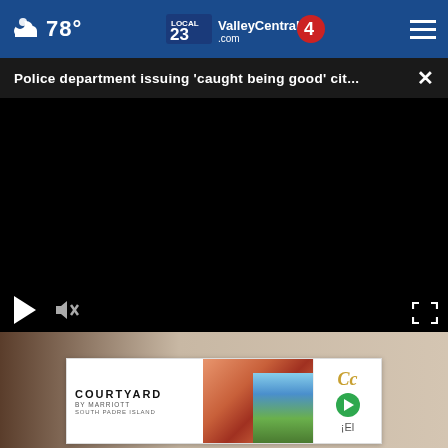78° ValleyCentral.com Local 23 4
Police department issuing 'caught being good' cit...
[Figure (screenshot): Black video player area with play button, mute button, and fullscreen button controls]
[Figure (photo): Photo of person, partially visible, with dark hair]
[Figure (screenshot): Advertisement banner for Courtyard by Marriott South Padre Island with hotel image and Cc logo]